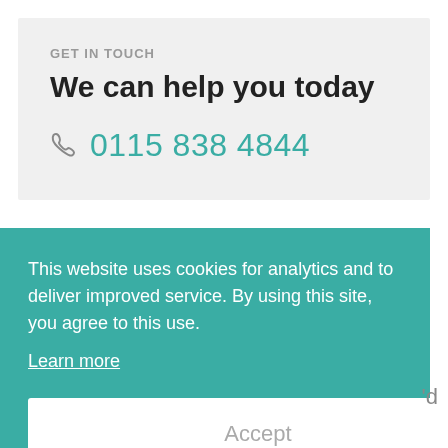GET IN TOUCH
We can help you today
0115 838 4844
This website uses cookies for analytics and to deliver improved service. By using this site, you agree to this use. Learn more
Accept